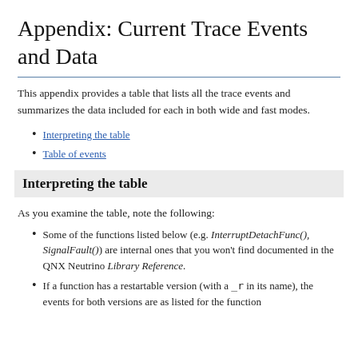Appendix: Current Trace Events and Data
This appendix provides a table that lists all the trace events and summarizes the data included for each in both wide and fast modes.
Interpreting the table
Table of events
Interpreting the table
As you examine the table, note the following:
Some of the functions listed below (e.g. InterruptDetachFunc(), SignalFault()) are internal ones that you won't find documented in the QNX Neutrino Library Reference.
If a function has a restartable version (with a _r in its name), the events for both versions are as listed for the function